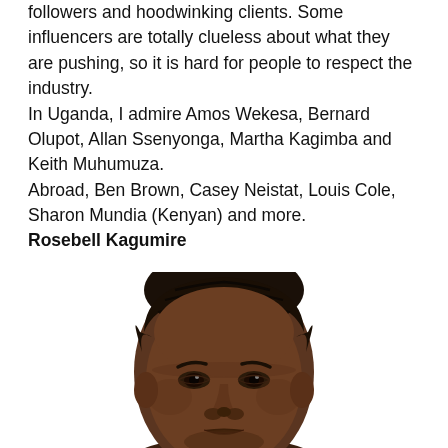followers and hoodwinking clients. Some influencers are totally clueless about what they are pushing, so it is hard for people to respect the industry. In Uganda, I admire Amos Wekesa, Bernard Olupot, Allan Ssenyonga, Martha Kagimba and Keith Muhumuza. Abroad, Ben Brown, Casey Neistat, Louis Cole, Sharon Mundia (Kenyan) and more.
Rosebell Kagumire
[Figure (photo): Portrait photo of Rosebell Kagumire, a woman with short natural hair, facing slightly downward, dark complexion, shown from the shoulders up against a white background.]